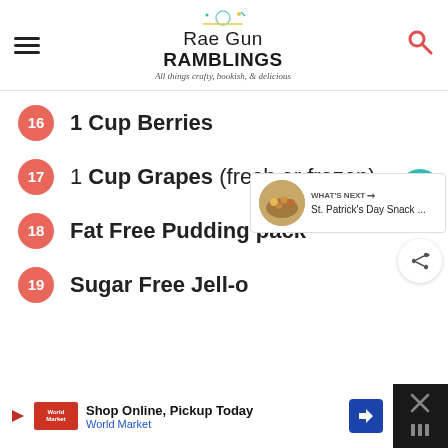Rae Gun Ramblings — All things crafty, bookish, & delicious
16  1 Cup Berries
17  1 Cup Grapes (fresh or frozen)
18  Fat Free Pudding pack
19  Sugar Free Jell-o
[Figure (other): Like/heart button with count 1 and share button]
[Figure (other): What's Next panel showing St. Patrick's Day Snack article thumbnail]
Shop Online, Pickup Today — World Market (advertisement)